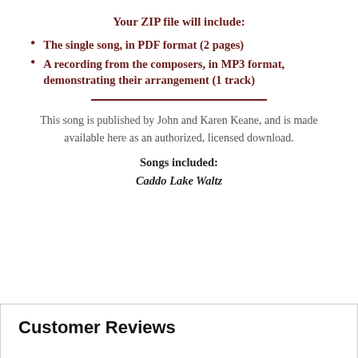Your ZIP file will include:
The single song, in PDF format (2 pages)
A recording from the composers, in MP3 format, demonstrating their arrangement (1 track)
This song is published by John and Karen Keane, and is made available here as an authorized, licensed download.
Songs included:
Caddo Lake Waltz
Customer Reviews